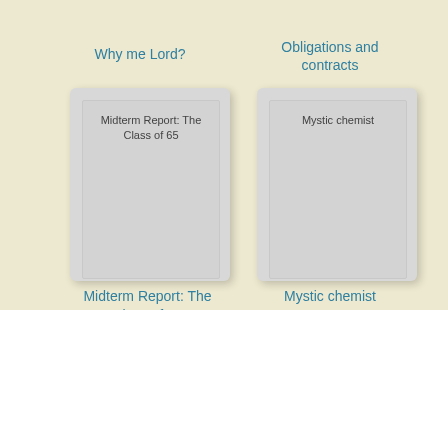Why me Lord?
Obligations and contracts
[Figure (illustration): Book cover thumbnail for Midterm Report: The Class of 65 — gray placeholder card]
[Figure (illustration): Book cover thumbnail for Mystic chemist — gray placeholder card]
Midterm Report: The Class of 65
Mystic chemist
A Rage of Regents by Nigel G. Tranter Download PDF EPUB FB2